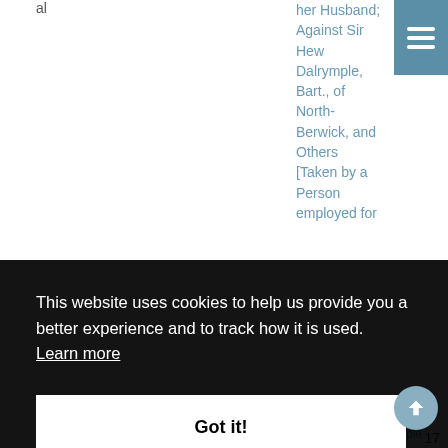al
her Husband; Against Sir Hew Dalrymple, Bart., of North-Berwick, and Others [Taken by a Person employed for
This website uses cookies to help us provide you a better experience and to track how it is used. Learn more
Got it!
Fullerton v.
Marriage
Dalrymple
17